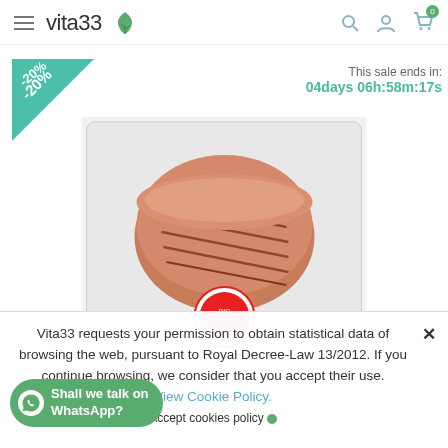vita33 [logo with leaf] — navigation: hamburger menu, search, account, cart (0)
[Figure (other): Teal/green triangular badge with text '-20%']
This sale ends in: 04days 06h:58m:17s
[Figure (photo): Packaged sliced meat product (rolled/roasted) with a red circular brand label, in transparent vacuum packaging]
Vita33 requests your permission to obtain statistical data of browsing the web, pursuant to Royal Decree-Law 13/2012. If you continue browsing, we consider that you accept their use.
View Cookie Policy.
Accept cookies policy
Shall we talk on WhatsApp?